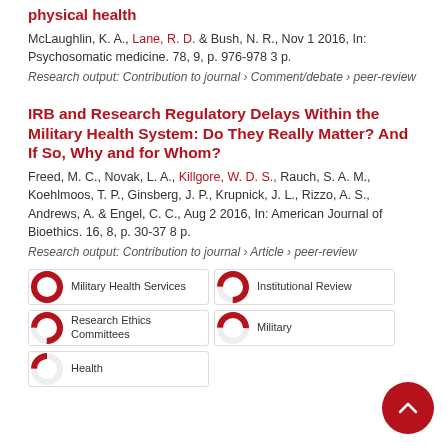physical health
McLaughlin, K. A., Lane, R. D. & Bush, N. R., Nov 1 2016, In: Psychosomatic medicine. 78, 9, p. 976-978 3 p.
Research output: Contribution to journal › Comment/debate › peer-review
IRB and Research Regulatory Delays Within the Military Health System: Do They Really Matter? And If So, Why and for Whom?
Freed, M. C., Novak, L. A., Killgore, W. D. S., Rauch, S. A. M., Koehlmoos, T. P., Ginsberg, J. P., Krupnick, J. L., Rizzo, A. S., Andrews, A. & Engel, C. C., Aug 2 2016, In: American Journal of Bioethics. 16, 8, p. 30-37 8 p.
Research output: Contribution to journal › Article › peer-review
[Figure (infographic): Five keyword badges with donut-chart style percentage indicators: Military Health Services (100%), Institutional Review (75%), Research Ethics Committees (75%), Military (50%), Health (25%)]